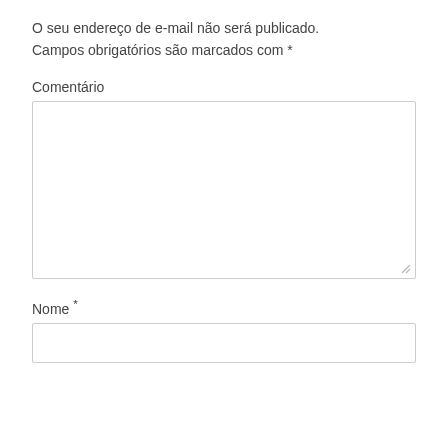O seu endereço de e-mail não será publicado. Campos obrigatórios são marcados com *
Comentário
[Figure (other): Textarea input field for comment]
Nome *
[Figure (other): Text input field for name]